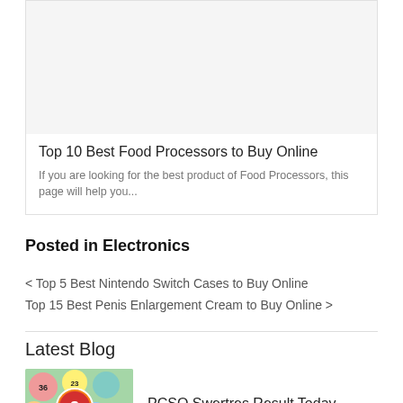[Figure (photo): Placeholder image for food processors article]
Top 10 Best Food Processors to Buy Online
If you are looking for the best product of Food Processors, this page will help you...
Posted in Electronics
< Top 5 Best Nintendo Switch Cases to Buy Online
Top 15 Best Penis Enlargement Cream to Buy Online >
Latest Blog
[Figure (photo): Colorful lottery balls with number 3 Lotto logo]
PCSO Swertres Result Today